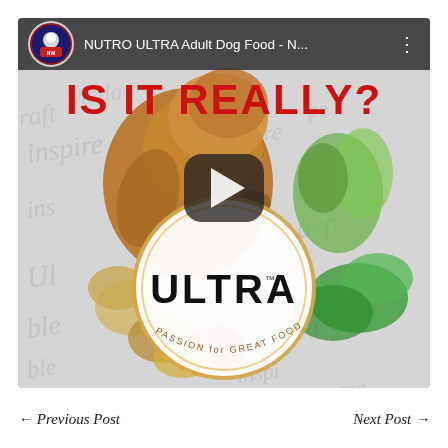[Figure (screenshot): Screenshot of a social media video post. Dark top bar with circular avatar/logo and title 'NUTRO ULTRA Adult Dog Food - N...' with three-dot menu. Below is a video thumbnail showing 'IS IT REALLY?' in red bold text over a light gray background with cursive watermark words, an illustration of a dog, potatoes, spinach leaves, herbs, and a circular ULTRA logo with 'PASSION for GREAT FOOD'. A dark rounded play button overlay is centered on the thumbnail.]
← Previous Post    Next Post →